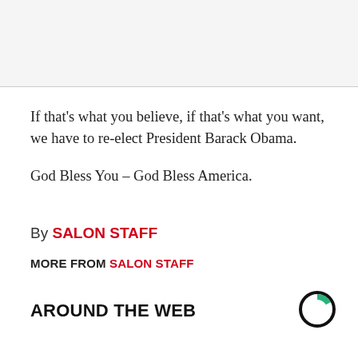If that's what you believe, if that's what you want, we have to re-elect President Barack Obama.
God Bless You – God Bless America.
By SALON STAFF
MORE FROM SALON STAFF
AROUND THE WEB